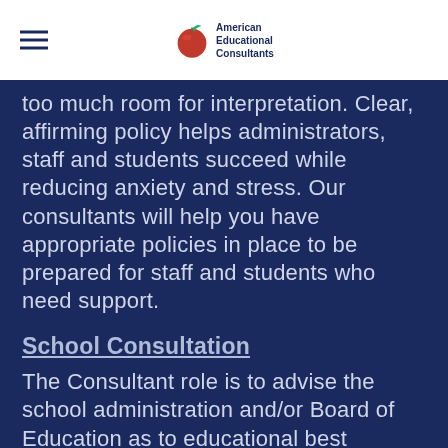American Educational Consultants
too much room for interpretation.  Clear, affirming policy helps administrators, staff and students succeed while reducing anxiety and stress.  Our consultants will help you have appropriate policies in place to be prepared for staff and students who need support.
School Consultation
The Consultant role is to advise the school administration and/or Board of Education as to educational best practices for any area of the school district's operation in question.  This advice can be in any format desirable to the school district.  Oral and written reporting, as well as presentations, to teaching staff, support staff, administration and/or the Board of Education are among the options available to